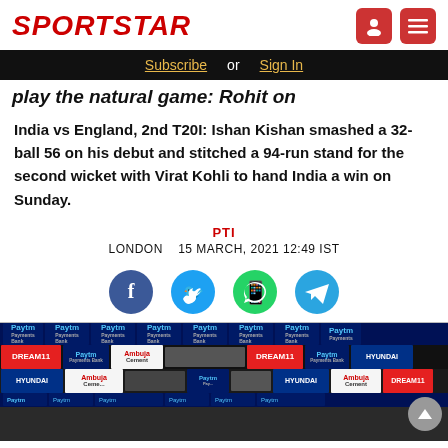SPORTSTAR
Subscribe or Sign In
play the natural game: Rohit on
India vs England, 2nd T20I: Ishan Kishan smashed a 32-ball 56 on his debut and stitched a 94-run stand for the second wicket with Virat Kohli to hand India a win on Sunday.
PTI
LONDON   15 MARCH, 2021 12:49 IST
[Figure (photo): Photo of Virat Kohli and Ishan Kishan at a press conference with Paytm, Dream11, Ambuja Cement, and Hyundai sponsor boards in the background]